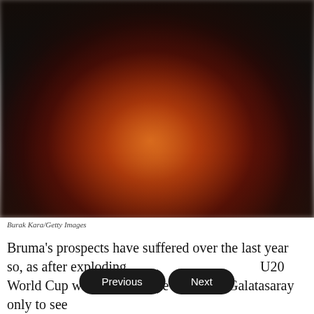[Figure (photo): A blurred sports/celebration photo with orange and red tones, showing figures in what appears to be a stadium or crowd setting. Heavily blurred.]
Burak Kara/Getty Images
Bruma's prospects have suffered over the last year so, as after exploding onto the scene at the U20 World Cup with Portugal, he moved to Galatasaray only to see his career suffer a reaction.